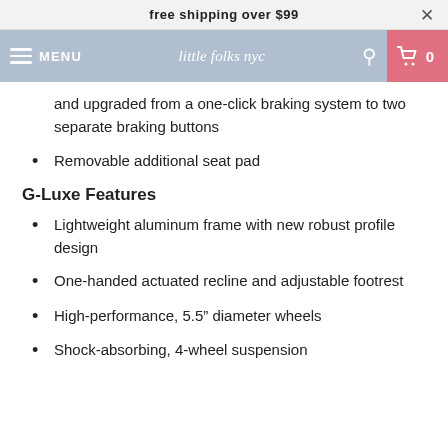free shipping over $99
MENU   little folks nyc   0
and upgraded from a one-click braking system to two separate braking buttons
Removable additional seat pad
G-Luxe Features
Lightweight aluminum frame with new robust profile design
One-handed actuated recline and adjustable footrest
High-performance, 5.5" diameter wheels
Shock-absorbing, 4-wheel suspension